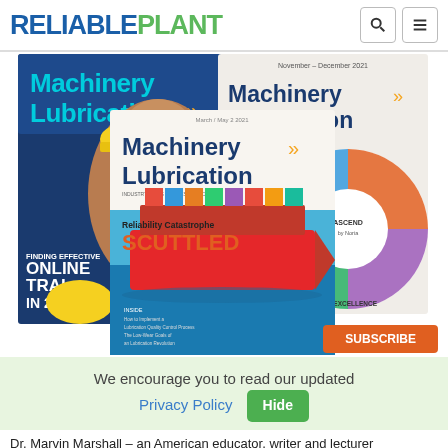RELIABLEPLANT
[Figure (photo): Three overlapping Machinery Lubrication magazine covers. Back-left: blue cover with person in hard hat and text 'FINDING EFFECTIVE ONLINE TRAINING IN 202...'. Back-right: Machinery Lubrication cover with circular industrial graphic and 'ASCEND TO LUBRICATION EXCELLENCE'. Front-center: Machinery Lubrication cover with container ship and text 'Reliability Catastrophe SCUTTLED'.]
We encourage you to read our updated Privacy Policy  Hide
Dr. Marvin Marshall – an American educator, writer and lecturer